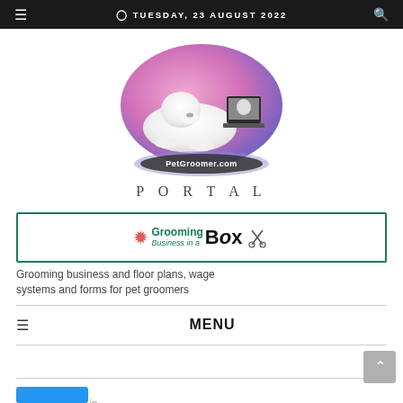TUESDAY, 23 AUGUST 2022
[Figure (logo): PetGroomer.com Portal logo: white fluffy dog lying next to a laptop, set in a pink/purple oval with 'PetGroomer.com' text on a dark ellipse base, below which is the word PORTAL in wide-spaced serif letters]
[Figure (other): Grooming Business in a Box advertisement banner with paw print icon and scissor graphic]
Grooming business and floor plans, wage systems and forms for pet groomers
MENU
f  t  g+  p  in (social media icons: Facebook, Twitter, Google+, Pinterest, LinkedIn)